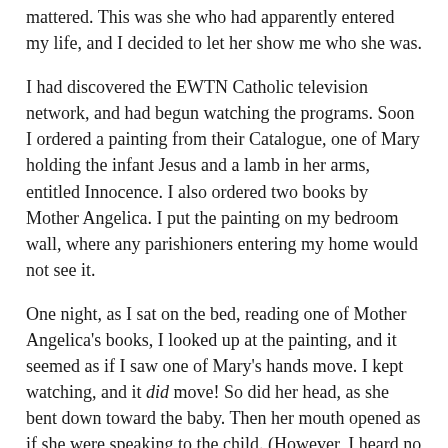mattered. This was she who had apparently entered my life, and I decided to let her show me who she was.
I had discovered the EWTN Catholic television network, and had begun watching the programs. Soon I ordered a painting from their Catalogue, one of Mary holding the infant Jesus and a lamb in her arms, entitled Innocence. I also ordered two books by Mother Angelica. I put the painting on my bedroom wall, where any parishioners entering my home would not see it.
One night, as I sat on the bed, reading one of Mother Angelica's books, I looked up at the painting, and it seemed as if I saw one of Mary's hands move. I kept watching, and it did move! So did her head, as she bent down toward the baby. Then her mouth opened as if she were speaking to the child. (However, I heard no sounds.) Following this, it seemed His head turned up to look at her. Finally, she appeared to sway back and forth as if rocking the baby and the lamb, with her hands held close in the circle.